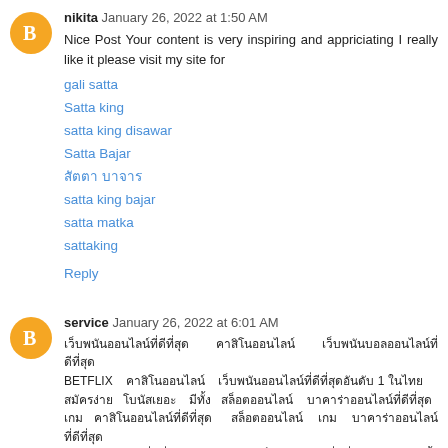nikita  January 26, 2022 at 1:50 AM
Nice Post Your content is very inspiring and appriciating I really like it please visit my site for
gali satta
Satta king
satta king disawar
Satta Bajar
สัตตา บาจาร
satta king bajar
satta matka
sattaking
Reply
service  January 26, 2022 at 6:01 AM
Thai language text about BETFLIX gambling/betting service